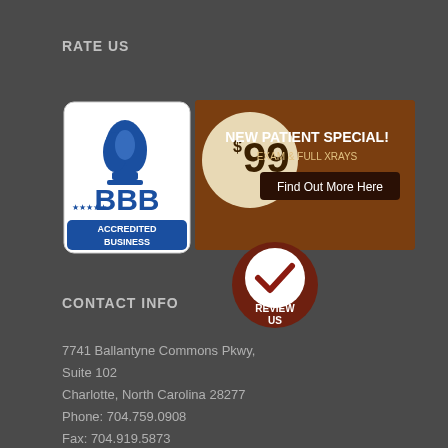RATE US
[Figure (logo): BBB Accredited Business badge with blue flame logo and blue banner reading ACCREDITED BUSINESS]
[Figure (infographic): New Patient Special banner: $99 Exam & Full Xrays with Find Out More Here button on brown background with cream circle]
[Figure (logo): Review Us circular badge with checkmark on dark red background]
CONTACT INFO
7741 Ballantyne Commons Pkwy, Suite 102
Charlotte, North Carolina 28277
Phone: 704.759.0908
Fax: 704.919.5873